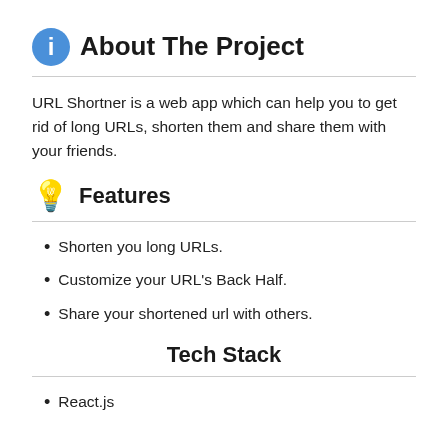About The Project
URL Shortner is a web app which can help you to get rid of long URLs, shorten them and share them with your friends.
Features
Shorten you long URLs.
Customize your URL's Back Half.
Share your shortened url with others.
Tech Stack
React.js